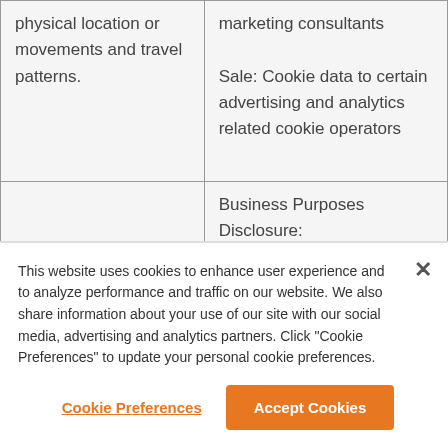| physical location or movements and travel patterns. | marketing consultants

Sale: Cookie data to certain advertising and analytics related cookie operators |
|  | Business Purposes Disclosure: |
This website uses cookies to enhance user experience and to analyze performance and traffic on our website. We also share information about your use of our site with our social media, advertising and analytics partners. Click "Cookie Preferences" to update your personal cookie preferences.
Cookie Preferences
Accept Cookies